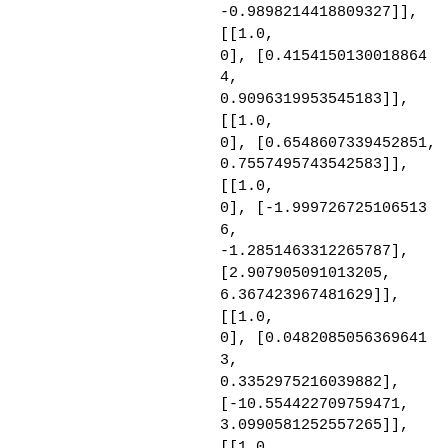[..., -0.9898214418809327], [[1.0, 0], [0.41541501300188644, 0.9096319953545183]], [[1.0, 0], [0.6548607339452851, 0.7557495743542583]], [[1.0, 0], [-1.9997267251065136, -1.2851463312265787], [2.907905091013205, 6.367423967481629]], [[1.0, 0], [0.04820850563696413, 0.3352975216039882], [-10.554422709759471, 3.0990581252557265]], [[1.0, 0], [3.0088595720246545, -1.9336766327196508], [5.400395169024524, -11.825215993960874]], [[1.0, 0], [-5.917017531376176, 1.7373931063928187], [14.30131005813008,